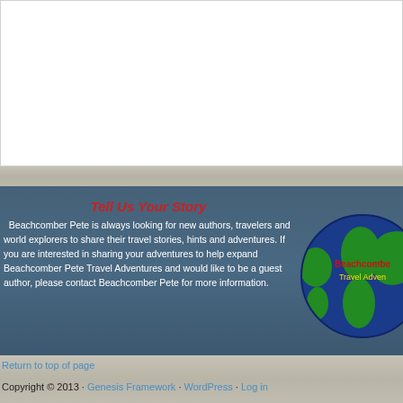[Figure (other): White content area / blank panel at top of page]
Tell Us Your Story
Beachcomber Pete is always looking for new authors, travelers and world explorers to share their travel stories, hints and adventures. If you are interested in sharing your adventures to help expand Beachcomber Pete Travel Adventures and would like to be a guest author, please contact Beachcomber Pete for more information.
[Figure (logo): Beachcomber Pete Travel Adventures globe logo — green and blue globe with red 'Beachcomber' text and yellow 'Travel Adven...' text]
Return to top of page
Copyright © 2013 · Genesis Framework · WordPress · Log in